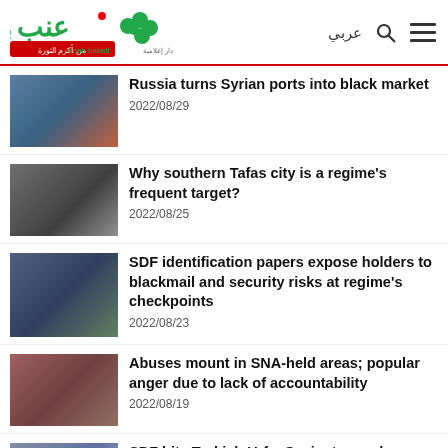Enab Baladi - عربي
Russia turns Syrian ports into black market
2022/08/29
Why southern Tafas city is a regime's frequent target?
2022/08/25
SDF identification papers expose holders to blackmail and security risks at regime's checkpoints
2022/08/23
Abuses mount in SNA-held areas; popular anger due to lack of accountability
2022/08/19
SDF hits Turkish Urfa, Gaziantep and Mardin; vows more attacks: statement
2022/08/19
+ More Baladi...